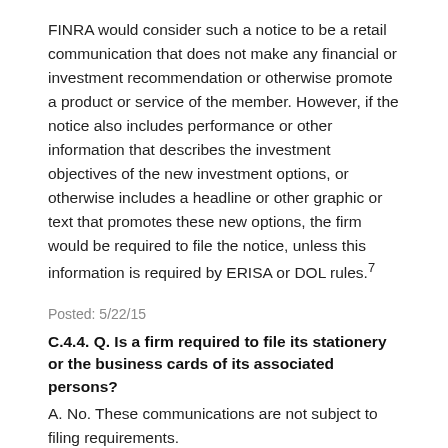FINRA would consider such a notice to be a retail communication that does not make any financial or investment recommendation or otherwise promote a product or service of the member. However, if the notice also includes performance or other information that describes the investment objectives of the new investment options, or otherwise includes a headline or other graphic or text that promotes these new options, the firm would be required to file the notice, unless this information is required by ERISA or DOL rules.7
Posted: 5/22/15
C.4.4. Q. Is a firm required to file its stationery or the business cards of its associated persons?
A. No. These communications are not subject to filing requirements.